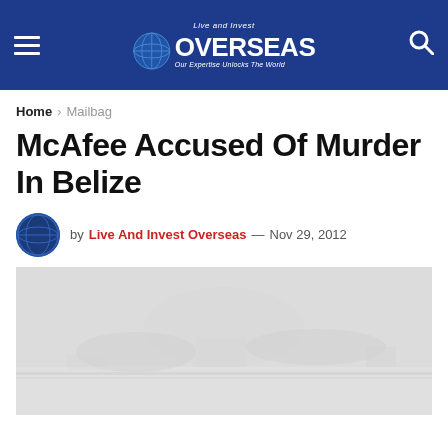Live and Invest Overseas — Our Expertise Unlocks The World
Home › Mailbag
McAfee Accused Of Murder In Belize
by Live And Invest Overseas — Nov 29, 2012
[Figure (photo): A faded, low-contrast landscape photograph, likely showing a coastal or outdoor scene in Belize, with muted grey and beige tones.]